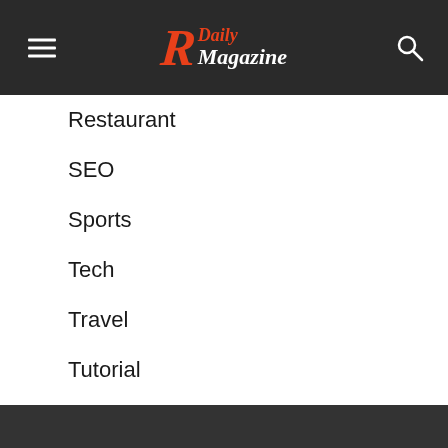R Daily Magazine
Restaurant
SEO
Sports
Tech
Travel
Tutorial
Uncategorized
Wedding